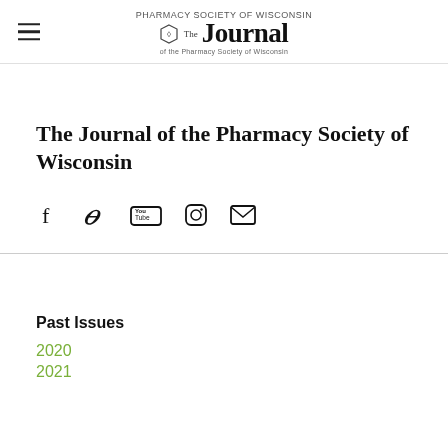The Journal of the Pharmacy Society of Wisconsin
The Journal of the Pharmacy Society of Wisconsin
[Figure (other): Social media icons row: Facebook, Twitter, YouTube, Instagram, Email]
Past Issues
2020
2021